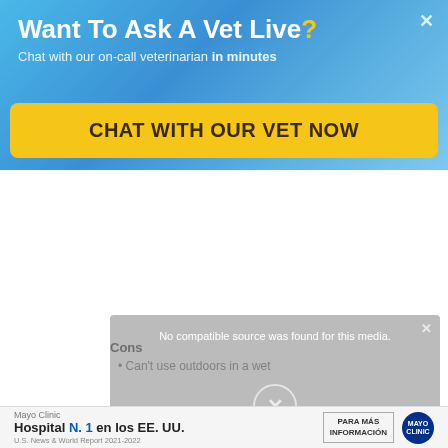Want To Ask A Vet Live?
Chat with our on-call veterinarian in minutes
CHAT WITH OUR VET NOW
No compatible source was found for this media.
Cons
Can't use outdoors in a wet
[Figure (screenshot): Mayo Clinic advertisement bar showing 'Hospital N.1 en los EE. UU.' with PARA MÁS INFORMACIÓN button and Mayo Clinic logo]